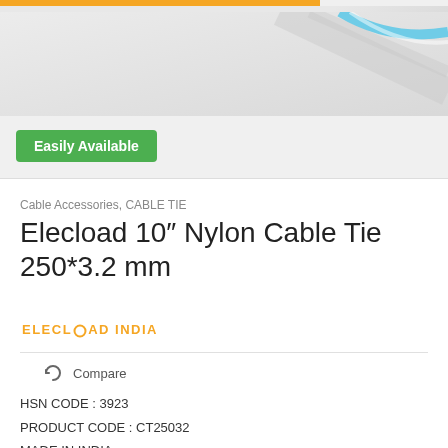[Figure (photo): Product photo area showing cable ties, partially visible with a blue cable tie element, on light grey background with an orange/yellow bar at the top]
Easily Available
Cable Accessories, CABLE TIE
Elecload 10″ Nylon Cable Tie 250*3.2 mm
ELECLOAD INDIA
Compare
HSN CODE : 3923
PRODUCT CODE : CT25032
MADE IN INDIA